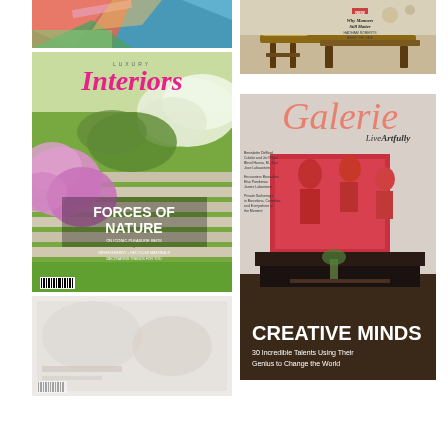[Figure (photo): Abstract colorful artwork with geometric shapes in red, pink, blue, and green tones - top portion of magazine cover]
[Figure (photo): Furniture/dining scene with dark wooden stool and table, with text 'Why Manners Still Matter - Hadham Roberts Makes the Case']
[Figure (photo): Luxury Interiors magazine cover featuring garden steps with hydrangeas and flowering plants, headline 'FORCES OF NATURE']
[Figure (photo): Galerie magazine cover with 'Live Artfully' tagline, showing interior room with people and artwork, headline 'CREATIVE MINDS - 30 Incredible Talents Using Their Genius to Change the World']
[Figure (photo): Partial magazine cover visible at bottom left, faded/ghosted appearance]